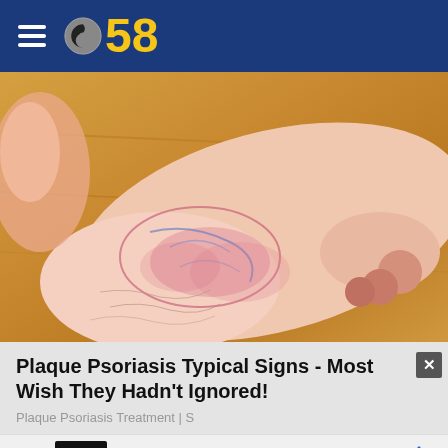CBS 58
[Figure (photo): Close-up photo of a human foot and ankle showing psoriasis symptoms with red, inflamed, and scaly skin patches]
Plaque Psoriasis Typical Signs - Most Wish They Hadn't Ignored!
Plaque Psoriasis Treatment | S
Your Favorite Look is Waiting Victoria's Secret